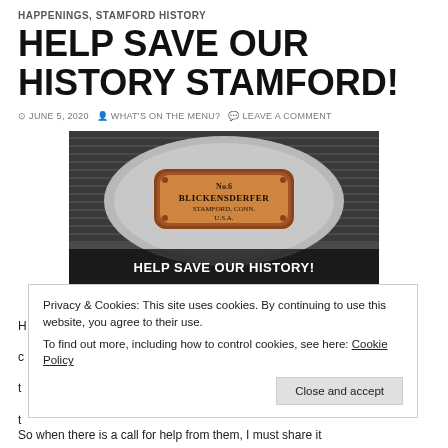HAPPENINGS, STAMFORD HISTORY
HELP SAVE OUR HISTORY STAMFORD!
JUNE 5, 2020  WHAT'S ON THE MENU?  LEAVE A COMMENT
[Figure (photo): Close-up of a Blickensderfer typewriter nameplate showing 'No.6 BLICKENSDERFER STAMFORD, CONN. U.S.A.' with overlay text 'HELP SAVE OUR HISTORY!']
Privacy & Cookies: This site uses cookies. By continuing to use this website, you agree to their use.
To find out more, including how to control cookies, see here: Cookie Policy
Close and accept
So when there is a call for help from them, I must share it